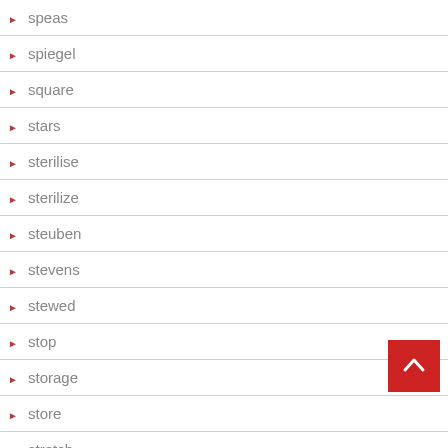speas
spiegel
square
stars
sterilise
sterilize
steuben
stevens
stewed
stop
storage
store
stretch
stuck